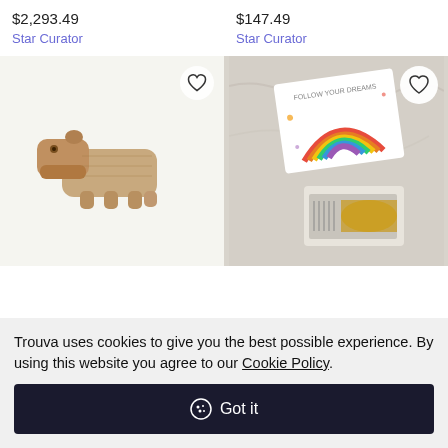$2,293.49
Star Curator
$147.49
Star Curator
[Figure (photo): Wooden hippo figurine with articulated mouth, light oak finish, sitting on four legs]
[Figure (photo): Music box with rainbow 'Follow Your Dreams' card on top and open mechanism visible, marble background]
Trouva uses cookies to give you the best possible experience. By using this website you agree to our Cookie Policy.
Got it